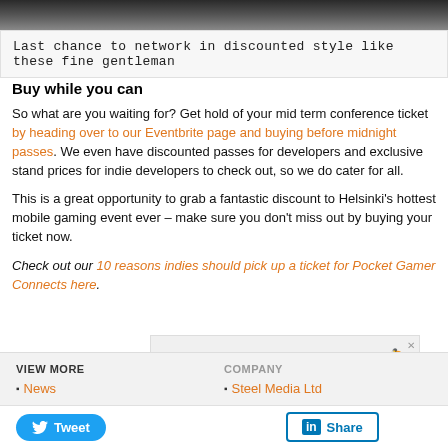[Figure (photo): Dark photo strip at top of page showing people]
Last chance to network in discounted style like these fine gentleman
Buy while you can
So what are you waiting for? Get hold of your mid term conference ticket by heading over to our Eventbrite page and buying before midnight passes. We even have discounted passes for developers and exclusive stand prices for indie developers to check out, so we do cater for all.
This is a great opportunity to grab a fantastic discount to Helsinki's hottest mobile gaming event ever – make sure you don't miss out by buying your ticket now.
Check out our 10 reasons indies should pick up a ticket for Pocket Gamer Connects here.
[Figure (advertisement): Ad banner: GET EDITORIAL COVERAGE ACROSS OUR NETWORK - Preferred Partners]
News
Steel Media Ltd